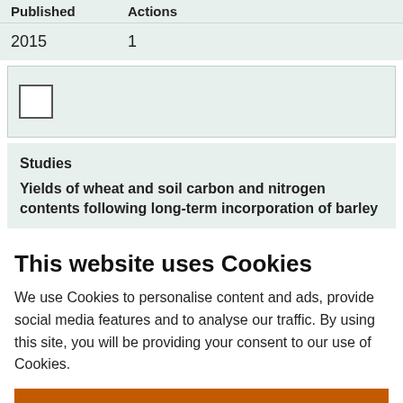| Published | Actions |
| --- | --- |
| 2015 | 1 |
Studies
Yields of wheat and soil carbon and nitrogen contents following long-term incorporation of barley
This website uses Cookies
We use Cookies to personalise content and ads, provide social media features and to analyse our traffic. By using this site, you will be providing your consent to our use of Cookies.
Accept & continue